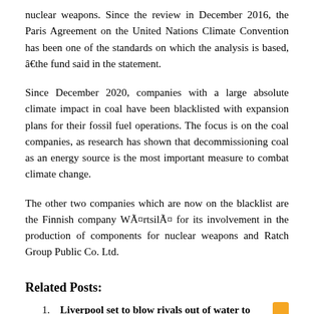nuclear weapons. Since the review in December 2016, the Paris Agreement on the United Nations Climate Convention has been one of the standards on which the analysis is based, â€the fund said in the statement.
Since December 2020, companies with a large absolute climate impact in coal have been blacklisted with expansion plans for their fossil fuel operations. The focus is on the coal companies, as research has shown that decommissioning coal as an energy source is the most important measure to combat climate change.
The other two companies which are now on the blacklist are the Finnish company WÃ¤rtsilÃ¤ for its involvement in the production of components for nuclear weapons and Ratch Group Public Co. Ltd.
Related Posts:
Liverpool set to blow rivals out of water to secure £ 20million signing – Report